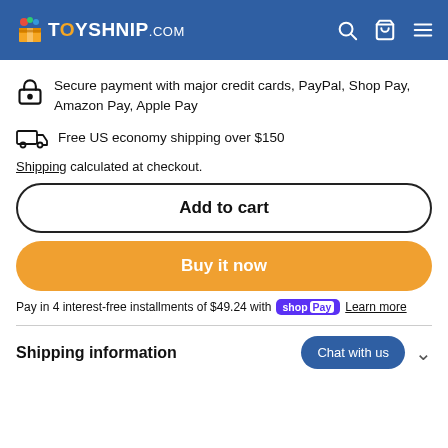TOYSHNIP.COM
Secure payment with major credit cards, PayPal, Shop Pay, Amazon Pay, Apple Pay
Free US economy shipping over $150
Shipping calculated at checkout.
Add to cart
Buy it now
Pay in 4 interest-free installments of $49.24 with shop Pay Learn more
Shipping information